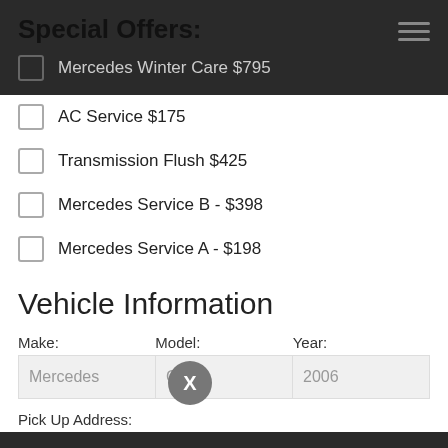Special Offers:
Mercedes Winter Care $795
AC Service $175
Transmission Flush $425
Mercedes Service B - $398
Mercedes Service A - $198
Vehicle Information
Make: Model: Year:
Mercedes | C230 | 2006
Pick Up Address:
[Figure (logo): Read Our 5-star Reviews badge with red ribbon and stars]